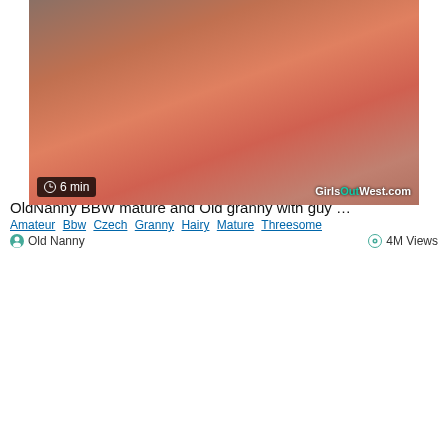[Figure (photo): Thumbnail image of video 1 with duration badge showing 8 min]
OldNanny BBW mature and Old granny with guy …
Amateur  Bbw  Czech  Granny  Hairy  Mature  Threesome
Old Nanny   4M Views
[Figure (photo): Thumbnail image of video 2 with duration badge showing 6 min and GirlsOutWest.com watermark]